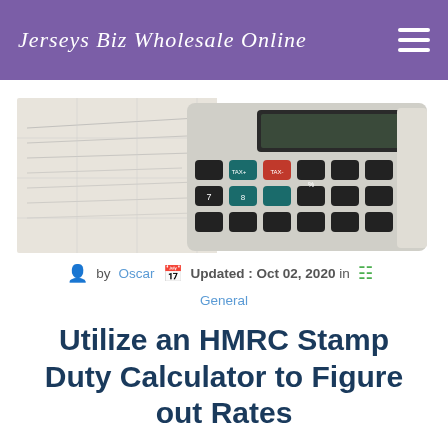Jerseys Biz Wholesale Online
[Figure (photo): Close-up photo of a calculator with dark keys including TAX+ and TAX- buttons, placed on handwritten financial documents/spreadsheets]
by Oscar   Updated : Oct 02, 2020 in   General
Utilize an HMRC Stamp Duty Calculator to Figure out Rates